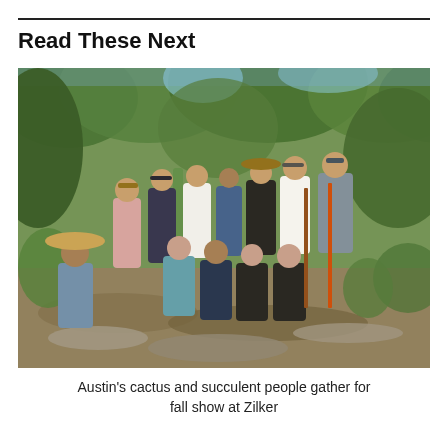Read These Next
[Figure (photo): Group photo of approximately 15 people posing outdoors in a natural wooded area with trees, brush, and a tall cactus visible. People are wearing casual summer clothes, hats, and some are holding garden tools. They are arranged in two rows on rocky ground surrounded by native Texas vegetation.]
Austin's cactus and succulent people gather for fall show at Zilker